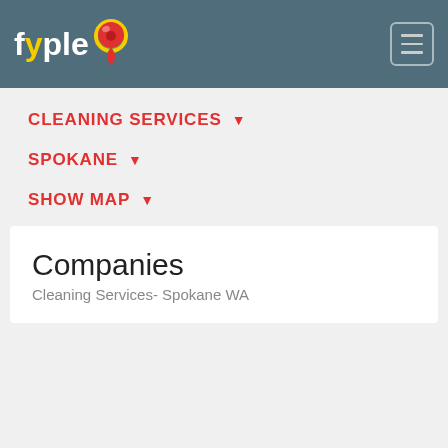fyple
CLEANING SERVICES ▾
SPOKANE ▾
SHOW MAP ▾
Companies
Cleaning Services- Spokane WA